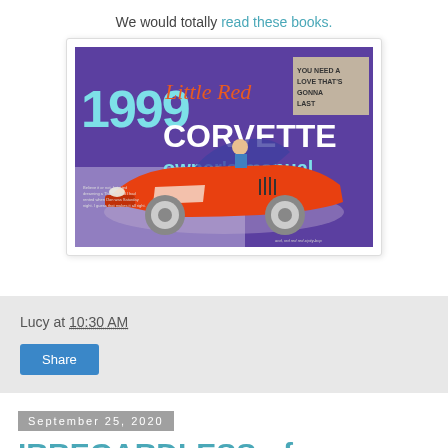We would totally read these books.
[Figure (photo): Book cover of '1999 Little Red Corvette owner's manual' with a purple background, an illustration of a red Corvette convertible, and text 'YOU NEED A LOVE THAT'S GONNA LAST']
Lucy at 10:30 AM
Share
September 25, 2020
IRREGARDLESS of your hate for the...